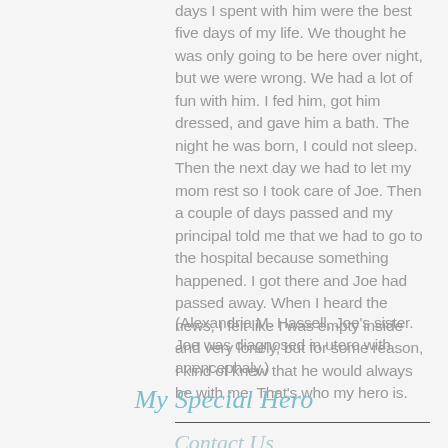days I spent with him were the best five days of my life. We thought he was only going to be here over night, but we were wrong. We had a lot of fun with him. I fed him, got him dressed, and gave him a bath. The night he was born, I could not sleep. Then the next day we had to let my mom rest so I took care of Joe. Then a couple of days passed and my principal told me that we had to go to the hospital because something happened. I got there and Joe had passed away. When I heard the news, I felt like I was empty inside and very lonely, but for some reason, I kind of knew that he would always be with me. That's who my hero is.
(Alexandria M. Hassell, Joe's sister. Joe was diagnosed in utero with anencephaly.)
My Special Hero
Contact Us